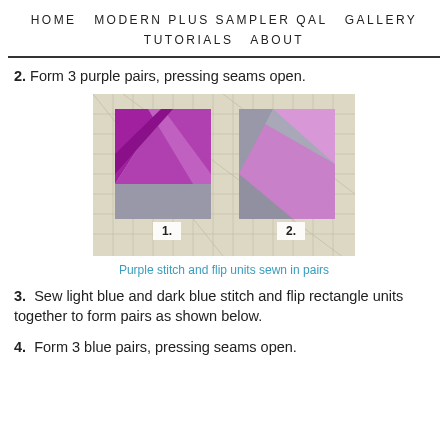HOME   MODERN PLUS SAMPLER QAL   GALLERY   TUTORIALS   ABOUT
2. Form 3 purple pairs, pressing seams open.
[Figure (photo): Two fabric quilt blocks on a cutting mat, labeled 1 and 2. Each block shows purple and light purple diagonal stitch and flip fabric pieces on a gray background, sewn in pairs.]
Purple stitch and flip units sewn in pairs
3.  Sew light blue and dark blue stitch and flip rectangle units together to form pairs as shown below.
4.  Form 3 blue pairs, pressing seams open.